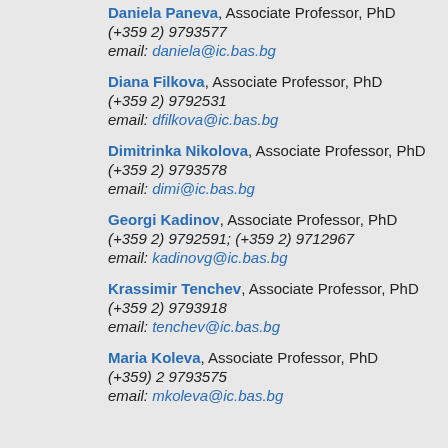Daniela Paneva, Associate Professor, PhD
(+359 2) 9793577
email: daniela@ic.bas.bg
Diana Filkova, Associate Professor, PhD
(+359 2) 9792531
email: dfilkova@ic.bas.bg
Dimitrinka Nikolova, Associate Professor, PhD
(+359 2) 9793578
email: dimi@ic.bas.bg
Georgi Kadinov, Associate Professor, PhD
(+359 2) 9792591; (+359 2) 9712967
email: kadinovg@ic.bas.bg
Krassimir Tenchev, Associate Professor, PhD
(+359 2) 9793918
email: tenchev@ic.bas.bg
Maria Koleva, Associate Professor, PhD
(+359) 2 9793575
email: mkoleva@ic.bas.bg